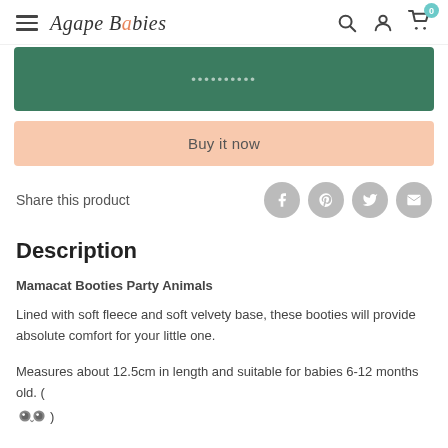Agape Babies
[Figure (screenshot): Green Add to Cart button (partially visible at top)]
Buy it now
Share this product
Description
Mamacat Booties Party Animals
Lined with soft fleece and soft velvety base, these booties will provide absolute comfort for your little one.
Measures about 12.5cm in length and suitable for babies 6-12 months old. ( 🐱 )